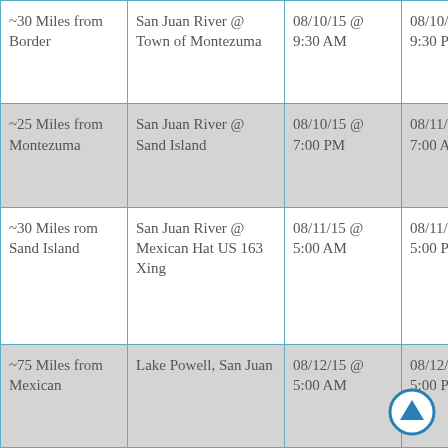| ~30 Miles from Border | San Juan River @ Town of Montezuma | 08/10/15 @ 9:30 AM | 08/10/15 @ 9:30 PM |
| ~25 Miles from Montezuma | San Juan River @ Sand Island | 08/10/15 @ 7:00 PM | 08/11/15 @ 7:00 AM |
| ~30 Miles rom Sand Island | San Juan River @ Mexican Hat US 163 Xing | 08/11/15 @ 5:00 AM | 08/11/15 @ 5:00 PM |
| ~75 Miles from Mexican... | Lake Powell, San Juan... | 08/12/15 @ 5:00 AM | 08/12/15 @ 5:00 PM |